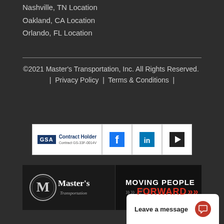Nashville, TN Location
Oakland, CA Location
Orlando, FL Location
©2021 Master's Transportation, Inc. All Rights Reserved.  |  Privacy Policy  |  Terms & Conditions  |
[Figure (logo): GSA Contract Holder badge and social media icons for Facebook, LinkedIn, and YouTube]
[Figure (logo): Master's Transportation logo with tagline MOVING PEOPLE FORWARD with chevrons]
Leave a message